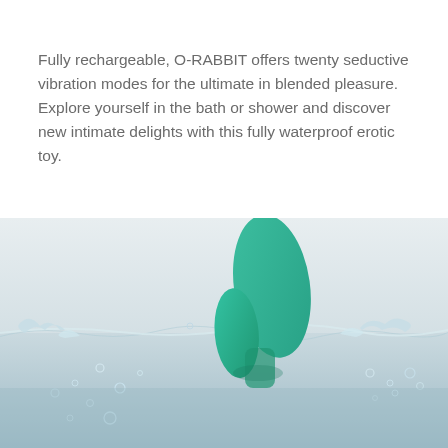Fully rechargeable, O-RABBIT offers twenty seductive vibration modes for the ultimate in blended pleasure. Explore yourself in the bath or shower and discover new intimate delights with this fully waterproof erotic toy.
[Figure (photo): A teal/green rabbit vibrator product partially submerged in water, with water splashing around it. The product has two protruding parts visible above the waterline against a light grey background.]